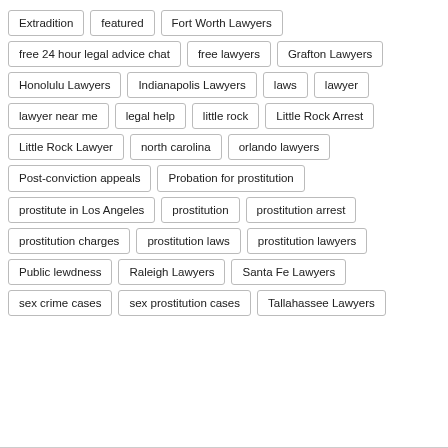Extradition
featured
Fort Worth Lawyers
free 24 hour legal advice chat
free lawyers
Grafton Lawyers
Honolulu Lawyers
Indianapolis Lawyers
laws
lawyer
lawyer near me
legal help
little rock
Little Rock Arrest
Little Rock Lawyer
north carolina
orlando lawyers
Post-conviction appeals
Probation for prostitution
prostitute in Los Angeles
prostitution
prostitution arrest
prostitution charges
prostitution laws
prostitution lawyers
Public lewdness
Raleigh Lawyers
Santa Fe Lawyers
sex crime cases
sex prostitution cases
Tallahassee Lawyers